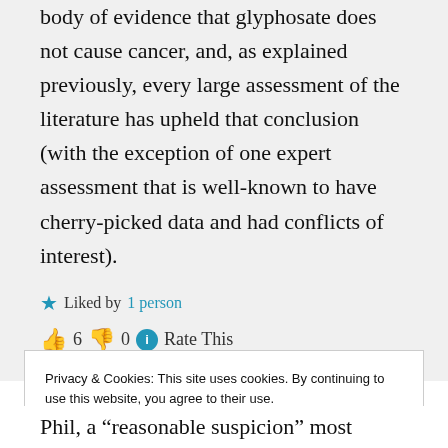body of evidence that glyphosate does not cause cancer, and, as explained previously, every large assessment of the literature has upheld that conclusion (with the exception of one expert assessment that is well-known to have cherry-picked data and had conflicts of interest).
★ Liked by 1 person
👍 6 👎 0 ℹ Rate This
Privacy & Cookies: This site uses cookies. By continuing to use this website, you agree to their use. To find out more, including how to control cookies, see here: Cookie Policy
Close and accept
Phil, a "reasonable suspicion" most